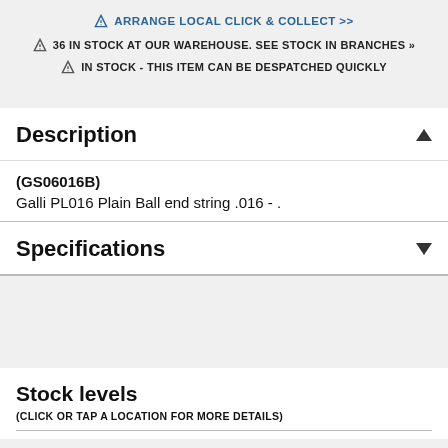ARRANGE LOCAL CLICK & COLLECT >>
36 IN STOCK AT OUR WAREHOUSE. SEE STOCK IN BRANCHES »
IN STOCK - THIS ITEM CAN BE DESPATCHED QUICKLY
Description
(GS06016B)
Galli PL016 Plain Ball end string .016 - .
Specifications
Stock levels
(CLICK OR TAP A LOCATION FOR MORE DETAILS)